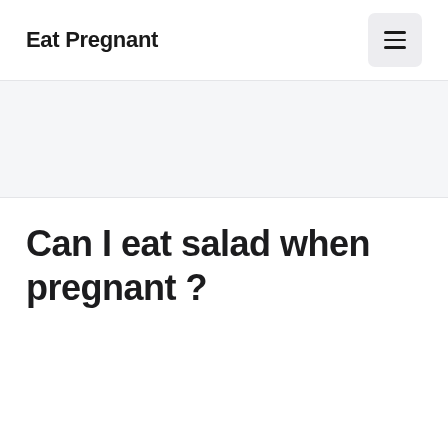Eat Pregnant
[Figure (other): Menu button (hamburger icon) with three horizontal lines on a light grey rounded rectangle background]
[Figure (other): Light grey banner/advertisement placeholder area]
Can I eat salad when pregnant ?